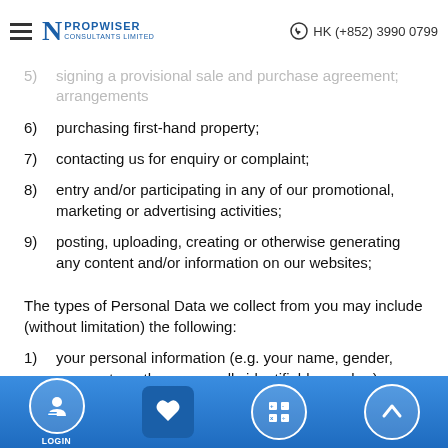Propwiser Consultants Limited | HK (+852) 3990 0799
6)    purchasing first-hand property;
7)    contacting us for enquiry or complaint;
8)    entry and/or participating in any of our promotional, marketing or advertising activities;
9)    posting, uploading, creating or otherwise generating any content and/or information on our websites;
The types of Personal Data we collect from you may include (without limitation) the following:
1)    your personal information (e.g. your name, gender, passport or other personally identifiable number);
2)    your contact information (e.g. telephone numbers, mailing addresses, email addresses and fax numbers)